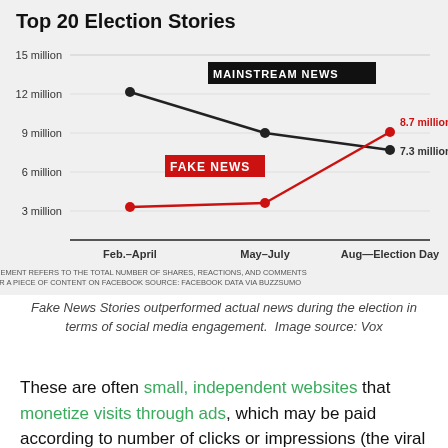[Figure (line-chart): Top 20 Election Stories]
Fake News Stories outperformed actual news during the election in terms of social media engagement.  Image source: Vox
These are often small, independent websites that monetize visits through ads, which may be paid according to number of clicks or impressions (the viral